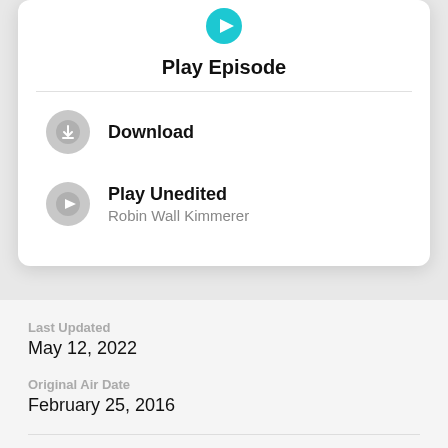Play Episode
Download
Play Unedited
Robin Wall Kimmerer
Last Updated
May 12, 2022
Original Air Date
February 25, 2016
Share